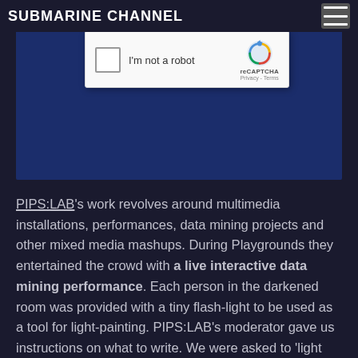SUBMARINE CHANNEL
[Figure (screenshot): Dark blue background box with a reCAPTCHA widget overlay showing a checkbox labeled 'I'm not a robot' and the reCAPTCHA logo with Privacy and Terms links]
PIPS:LAB's work revolves around multimedia installations, performances, data mining projects and other mixed media mashups. During Playgrounds they entertained the crowd with a live interactive data mining performance. Each person in the darkened room was provided with a tiny flash-light to be used as a tool for light-painting. PIPS:LAB's moderator gave us instructions on what to write. We were asked to 'light paint' our names as well as the answers to